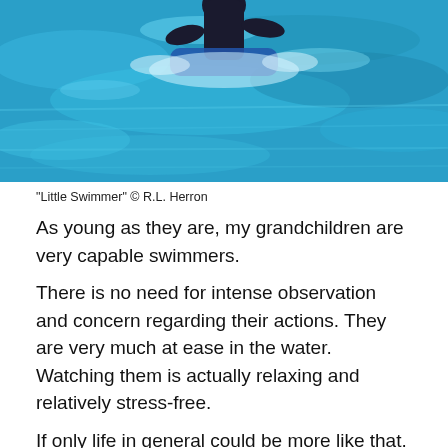[Figure (photo): A child swimming in a bright blue pool, viewed from above and partially cropped. The swimmer appears to be using a swim aid or board, splashing through turquoise water.]
“Little Swimmer” © R.L. Herron
As young as they are, my grandchildren are very capable swimmers.
There is no need for intense observation and concern regarding their actions. They are very much at ease in the water. Watching them is actually relaxing and relatively stress-free.
If only life in general could be more like that.
Unfortunately, humanity is a very fickle, ill-mannered species. It often seems the whole earth is in need of a